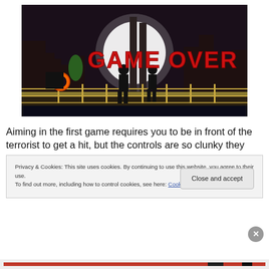[Figure (screenshot): Video game screenshot showing 'GAME OVER' text in large red letters over a dark cityscape with two silhouetted figures on a dock/platform. A white circular light glows behind the text. Buildings visible in background.]
Aiming in the first game requires you to be in front of the terrorist to get a hit, but the controls are so clunky they
Privacy & Cookies: This site uses cookies. By continuing to use this website, you agree to their use.
To find out more, including how to control cookies, see here: Cookie Policy
Close and accept